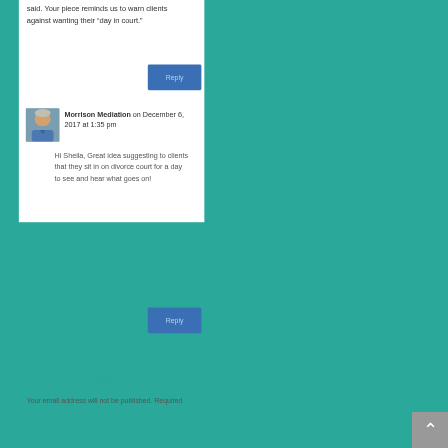said. Your piece reminds us to warn clients against wanting their “day in court.”
[Figure (other): Blue Reply button]
[Figure (photo): Avatar photo of Morrison Mediation representative, a man smiling in a blue shirt]
Morrison Mediation on December 6, 2017 at 1:35 pm
Hi Sheila, Great idea suggesting to clients that they sit in on divorce court for a day to see and hear what goes on!
[Figure (other): Blue Reply button]
Submit a Comment
Your email address will not be published. Required